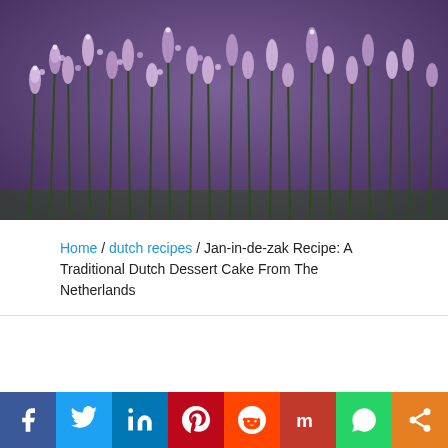[Figure (photo): Close-up photo of purple/lavender heather flowers with dark green stems against a blurred background]
Home / dutch recipes / Jan-in-de-zak Recipe: A Traditional Dutch Dessert Cake From The Netherlands
[Figure (infographic): Social media sharing bar with icons for Facebook, Twitter, LinkedIn, Pinterest, Reddit, Mix, WhatsApp, and Share]